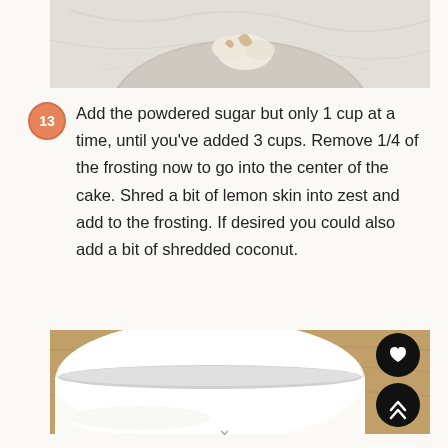[Figure (photo): Top portion of a metal mixing bowl on a marble surface viewed from above, with some cream/food content visible]
13 Add the powdered sugar but only 1 cup at a time, until you've added 3 cups. Remove 1/4 of the frosting now to go into the center of the cake. Shred a bit of lemon skin into zest and add to the frosting. If desired you could also add a bit of shredded coconut.
[Figure (photo): Close-up of a KitchenAid Classic stand mixer bowl attachment on a wooden surface with white frosting/cream visible]